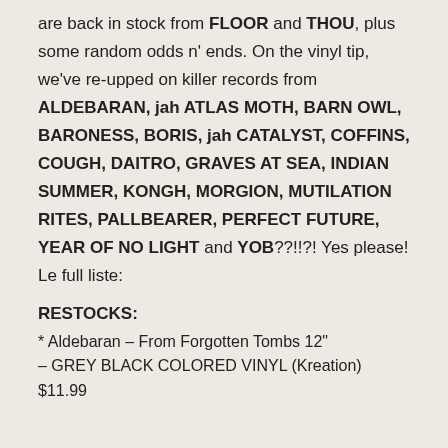are back in stock from FLOOR and THOU, plus some random odds n' ends. On the vinyl tip, we've re-upped on killer records from ALDEBARAN, jah ATLAS MOTH, BARN OWL, BARONESS, BORIS, jah CATALYST, COFFINS, COUGH, DAITRO, GRAVES AT SEA, INDIAN SUMMER, KONGH, MORGION, MUTILATION RITES, PALLBEARER, PERFECT FUTURE, YEAR OF NO LIGHT and YOB??!!?! Yes please! Le full liste:
RESTOCKS:
* Aldebaran – From Forgotten Tombs 12" – GREY BLACK COLORED VINYL (Kreation) $11.99